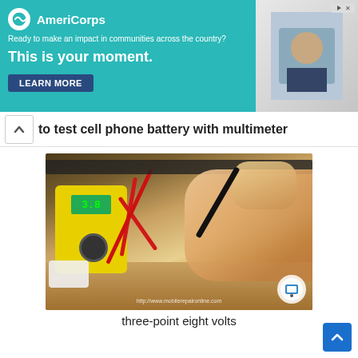[Figure (screenshot): AmeriCorps advertisement banner with teal background. Text: 'Ready to make an impact in communities across the country? This is your moment.' with a LEARN MORE button. Right side shows a photo of a person.]
to test cell phone battery with multimeter
[Figure (photo): Photo of hands testing a cell phone battery with a yellow multimeter using red and black probes. Watermark: http://www.mobilerepaironline.com]
three-point eight volts
And so the black and the black-red in the red and you can see this is around three point eight (3.8)volts so this is the DC voltage that we have measured and you can measure DC